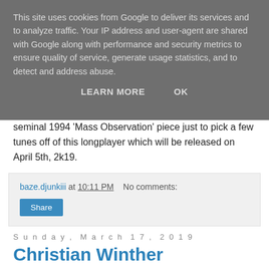This site uses cookies from Google to deliver its services and to analyze traffic. Your IP address and user-agent are shared with Google along with performance and security metrics to ensure quality of service, generate usage statistics, and to detect and address abuse.
LEARN MORE   OK
seminal 1994 'Mass Observation' piece just to pick a few tunes off of this longplayer which will be released on April 5th, 2k19.
baze.djunkiii at 10:11 PM   No comments:
Share
Sunday, March 17, 2019
Christian Winther Christensen - Almost In G [Col Legno]
Put on the circuit via the Col Legno-imprint on February 15th,